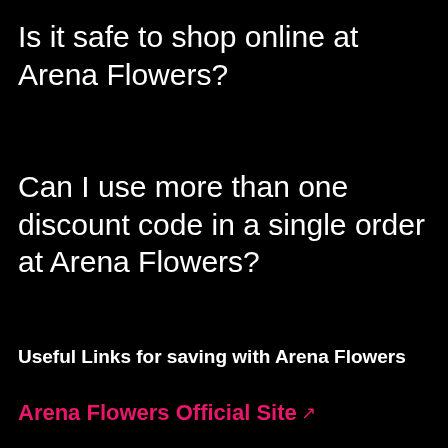Is it safe to shop online at Arena Flowers?
Can I use more than one discount code in a single order at Arena Flowers?
Useful Links for saving with Arena Flowers
Arena Flowers Official Site ↗